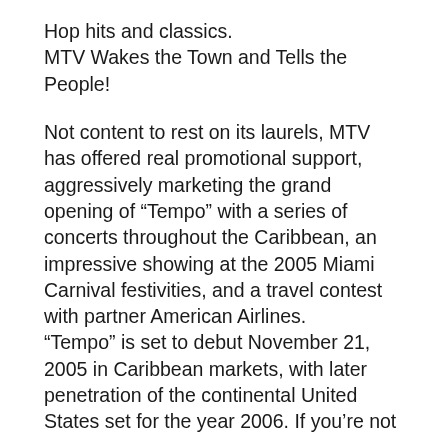Hop hits and classics. MTV Wakes the Town and Tells the People!
Not content to rest on its laurels, MTV has offered real promotional support, aggressively marketing the grand opening of “Tempo” with a series of concerts throughout the Caribbean, an impressive showing at the 2005 Miami Carnival festivities, and a travel contest with partner American Airlines. “Tempo” is set to debut November 21, 2005 in Caribbean markets, with later penetration of the continental United States set for the year 2006. If you’re not